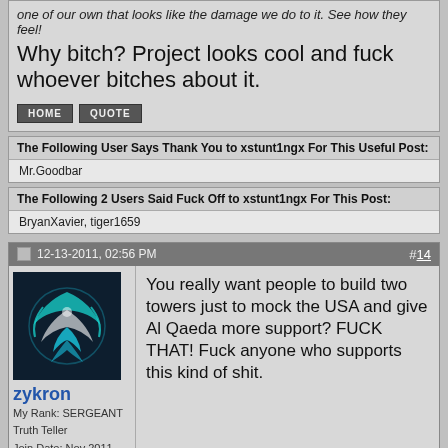one of our own that looks like the damage we do to it. See how they feel!
Why bitch? Project looks cool and fuck whoever bitches about it.
The Following User Says Thank You to xstunt1ngx For This Useful Post:
Mr.Goodbar
The Following 2 Users Said Fuck Off to xstunt1ngx For This Post:
BryanXavier, tiger1659
12-13-2011, 02:56 PM  #14
zykron
My Rank: SERGEANT
Truth Teller
Join Date: Nov 2011
You really want people to build two towers just to mock the USA and give Al Qaeda more support? FUCK THAT! Fuck anyone who supports this kind of shit.